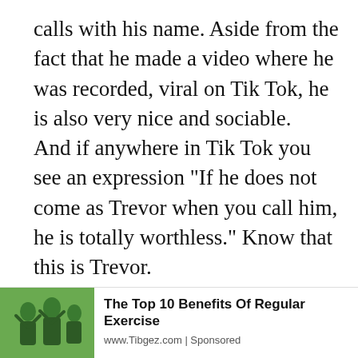calls with his name. Aside from the fact that he made a video where he was recorded, viral on Tik Tok, he is also very nice and sociable. And if anywhere in Tik Tok you see an expression "If he does not come as Trevor when you call him, he is totally worthless." Know that this is Trevor.
[Figure (logo): Horse Lovers logo — orange heart with lightning bolt and text HORSE LOVERS]
We use technology such as cookies on our site to collect and use personal data to personalise content and ads, to provide social media features and to analyse our traffic.
Do Not Sell My
Agree and proceed
[Figure (photo): Photo of people outdoors, green background, ad image]
The Top 10 Benefits Of Regular Exercise
www.Tibgez.com | Sponsored